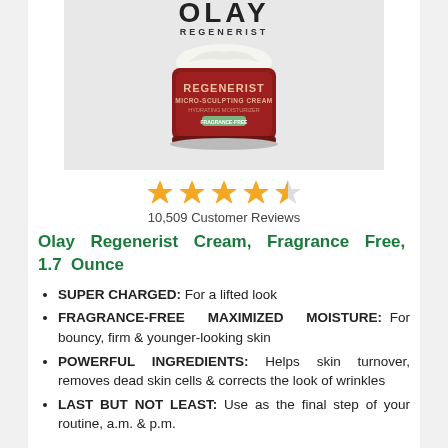[Figure (photo): Olay Regenerist Micro-Sculpting Cream product jar with cream on top, Fragrance-Free label, OLAY REGENERIST branding]
[Figure (other): 4.5 out of 5 star rating shown as 4 full gold stars and 1 half gold star]
10,509 Customer Reviews
Olay Regenerist Cream, Fragrance Free, 1.7 Ounce
SUPER CHARGED: For a lifted look
FRAGRANCE-FREE MAXIMIZED MOISTURE: For bouncy, firm & younger-looking skin
POWERFUL INGREDIENTS: Helps skin turnover, removes dead skin cells & corrects the look of wrinkles
LAST BUT NOT LEAST: Use as the final step of your routine, a.m. & p.m.